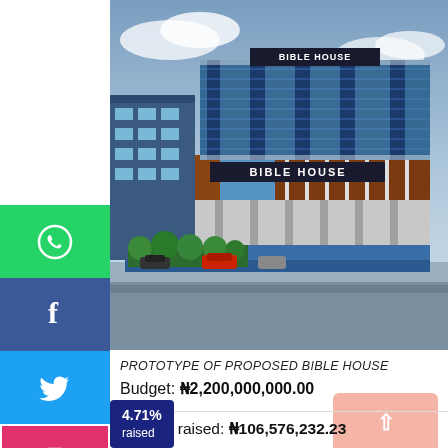[Figure (illustration): 3D architectural rendering of the proposed Bible House building, a multi-storey structure with glass facades and brick cladding, showing parking area with trees and cars]
PROTOTYPE OF PROPOSED BIBLE HOUSE
Budget: ₦2,200,000,000.00
4.71% raised
Amount raised: ₦106,576,232.23